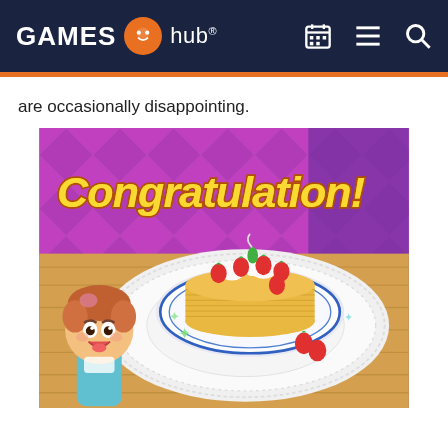GAMES hub®
are occasionally disappointing.
[Figure (screenshot): Cooking Mama video game screenshot showing a congratulations screen with a strawberry shortcake on a decorative doily plate and an animated chef character smiling. The word 'Congratulation!' appears in stylized gold text at the top.]